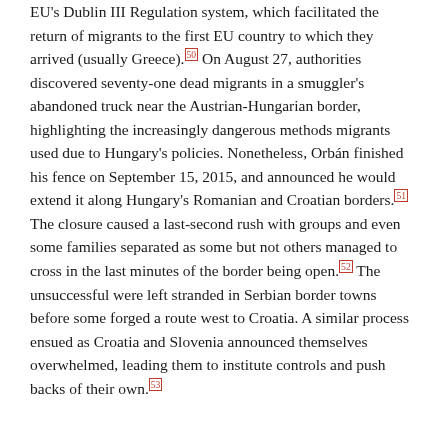EU's Dublin III Regulation system, which facilitated the return of migrants to the first EU country to which they arrived (usually Greece).[50] On August 27, authorities discovered seventy-one dead migrants in a smuggler's abandoned truck near the Austrian-Hungarian border, highlighting the increasingly dangerous methods migrants used due to Hungary's policies. Nonetheless, Orbán finished his fence on September 15, 2015, and announced he would extend it along Hungary's Romanian and Croatian borders.[51] The closure caused a last-second rush with groups and even some families separated as some but not others managed to cross in the last minutes of the border being open.[52] The unsuccessful were left stranded in Serbian border towns before some forged a route west to Croatia. A similar process ensued as Croatia and Slovenia announced themselves overwhelmed, leading them to institute controls and push backs of their own.[53]